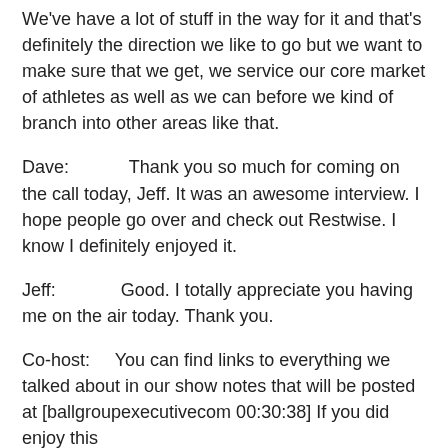We've have a lot of stuff in the way for it and that's definitely the direction we like to go but we want to make sure that we get, we service our core market of athletes as well as we can before we kind of branch into other areas like that.
Dave:            Thank you so much for coming on the call today, Jeff. It was an awesome interview. I hope people go over and check out Restwise. I know I definitely enjoyed it.
Jeff:            Good. I totally appreciate you having me on the air today. Thank you.
Co-host:      You can find links to everything we talked about in our show notes that will be posted at [ballgroupexecutivecom 00:30:38] If you did enjoy this